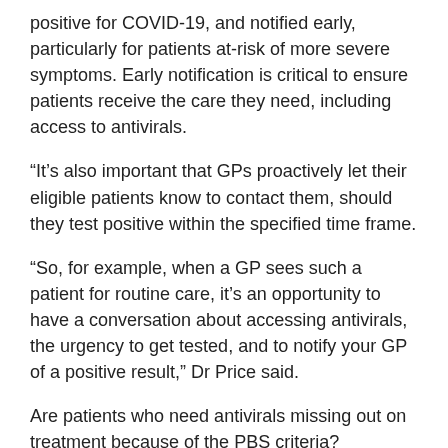positive for COVID-19, and notified early, particularly for patients at-risk of more severe symptoms. Early notification is critical to ensure patients receive the care they need, including access to antivirals.
“It’s also important that GPs proactively let their eligible patients know to contact them, should they test positive within the specified time frame.
“So, for example, when a GP sees such a patient for routine care, it’s an opportunity to have a conversation about accessing antivirals, the urgency to get tested, and to notify your GP of a positive result,” Dr Price said.
Are patients who need antivirals missing out on treatment because of the PBS criteria?
“Possibly,” said Professor Morgan. “But the bigger factor is lack of awareness of eligibility and delays leading to more